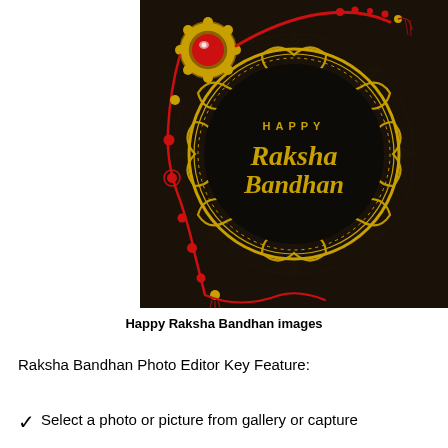[Figure (illustration): Happy Raksha Bandhan illustration with dark background, golden decorative mandala circle containing the text 'HAPPY Raksha Bandhan' in gold lettering, with a decorative rakhi (bracelet) in red and gold crossing through the image.]
Happy Raksha Bandhan images
Raksha Bandhan Photo Editor Key Feature:
Select a photo or picture from gallery or capture